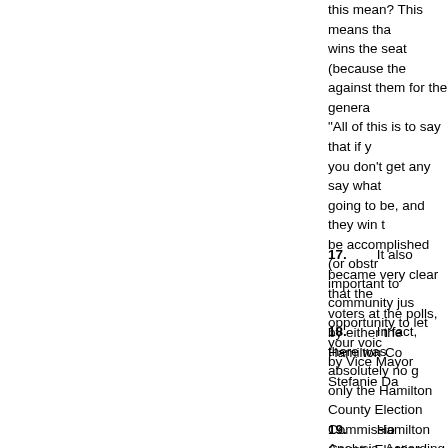this mean? This means that whoever wins the seat (because the against them for the genera "All of this is to say that if y you don't get any say what going to be, and they win t be accomplished (or obstr important to community jus opportunity to let your voic by Vice Mayor Stefanie Da
17.         It also became very clear that the voters at the polls, by either the Hamilton Co
18.         In fact, there was absolutely no g only the Hamilton County Election Commissi Analysis.  According to Hamilton County Elec digitally when it could have been.  Moreover, information be made available digitally at the
19.         Hamilton County Election Official on what to do if there was a challenge to a vo not given access, as noted, to the voting hist
20.         If a poll watcher or anyone else ju